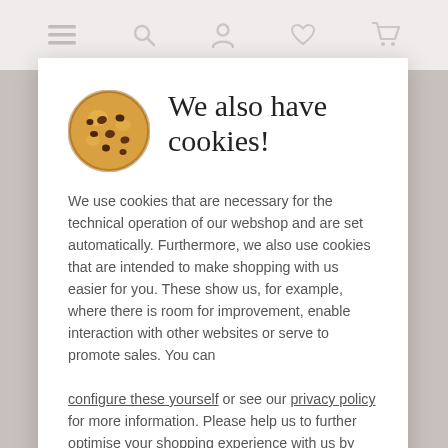We also have cookies!
We use cookies that are necessary for the technical operation of our webshop and are set automatically. Furthermore, we also use cookies that are intended to make shopping with us easier for you. These show us, for example, where there is room for improvement, enable interaction with other websites or serve to promote sales. You can configure these yourself or see our privacy policy for more information. Please help us to further optimise your shopping experience with us by agreeing to our use of cookies!